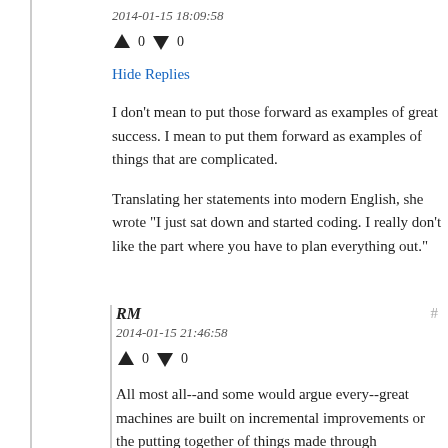2014-01-15 18:09:58
↑ 0 ↓ 0
Hide Replies
I don't mean to put those forward as examples of great success. I mean to put them forward as examples of things that are complicated.
Translating her statements into modern English, she wrote "I just sat down and started coding. I really don't like the part where you have to plan everything out."
RM
2014-01-15 21:46:58
↑ 0 ↓ 0
All most all--and some would argue every--great machines are built on incremental improvements or the putting together of things made through incremental improvements. Every great book was built from scratch.